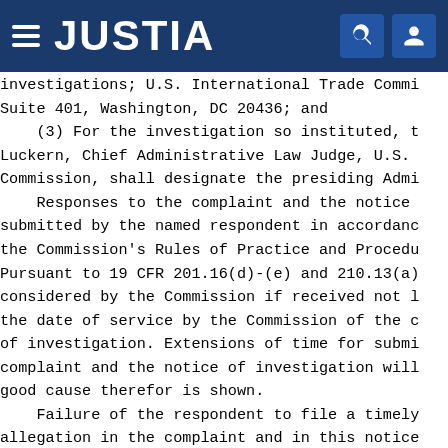JUSTIA
investigations; U.S. International Trade Commi- Suite 401, Washington, DC 20436; and
    (3) For the investigation so instituted, t- Luckern, Chief Administrative Law Judge, U.S. Commission, shall designate the presiding Admi-
    Responses to the complaint and the notice submitted by the named respondent in accordanc- the Commission's Rules of Practice and Procedu- Pursuant to 19 CFR 201.16(d)-(e) and 210.13(a) considered by the Commission if received not l- the date of service by the Commission of the c- of investigation. Extensions of time for submi- complaint and the notice of investigation will good cause therefor is shown.
    Failure of the respondent to file a timely allegation in the complaint and in this notice constitute a waiver of the right to appear and